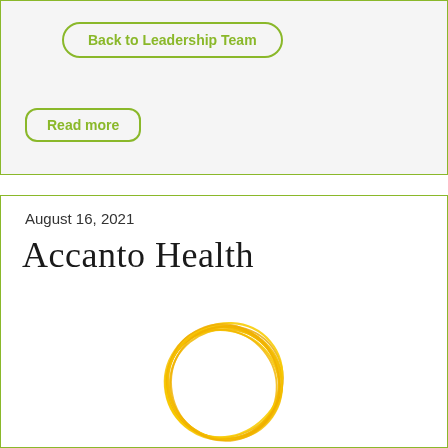Back to Leadership Team
Read more
August 16, 2021
Accanto Health
[Figure (logo): Circular golden/yellow swirl logo for Accanto Health]